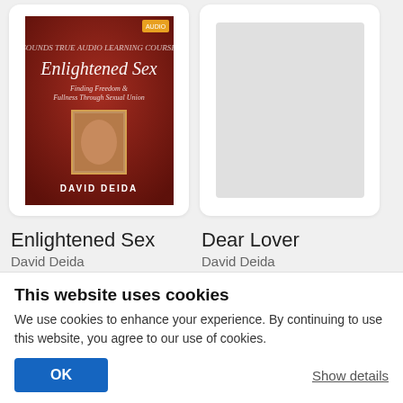[Figure (photo): Book cover for Enlightened Sex by David Deida — dark red/maroon cover with cursive title text and author name]
[Figure (photo): Placeholder grey rectangle representing the Dear Lover book cover (loading/unavailable image)]
Enlightened Sex
David Deida
★★★★★  5 Reviews
$39.18  $48.97
Dear Lover
David Deida
★★★★☆  5 Reviews
$13.56  $16.95
This website uses cookies
We use cookies to enhance your experience. By continuing to use this website, you agree to our use of cookies.